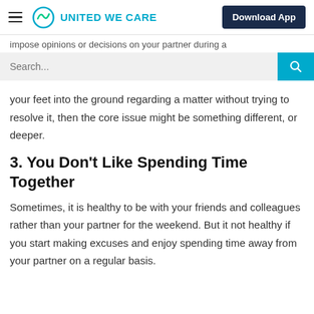United We Care — Download App
impose opinions or decisions on your partner during a
your feet into the ground regarding a matter without trying to resolve it, then the core issue might be something different, or deeper.
3. You Don't Like Spending Time Together
Sometimes, it is healthy to be with your friends and colleagues rather than your partner for the weekend. But it not healthy if you start making excuses and enjoy spending time away from your partner on a regular basis.